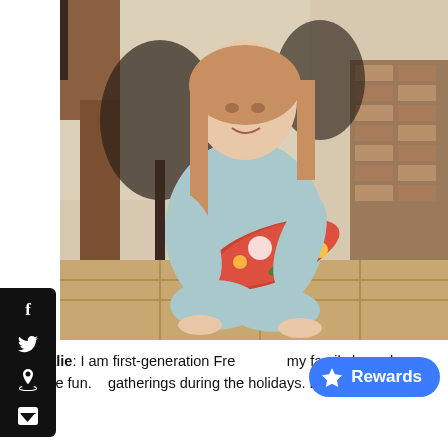[Figure (photo): Vintage photograph of a young girl with straight bangs sitting cross-legged on a tiled floor, wearing a light blue outfit, holding a colorful floral-wrapped Christmas present. Background shows houseplants and a brick fireplace.]
Nathalie: I am first-generation Fre… my family knew how to have fun. … gatherings during the holidays. Lots of wine for the
[Figure (other): Blue pill-shaped Rewards button with white star icon and 'Rewards' text]